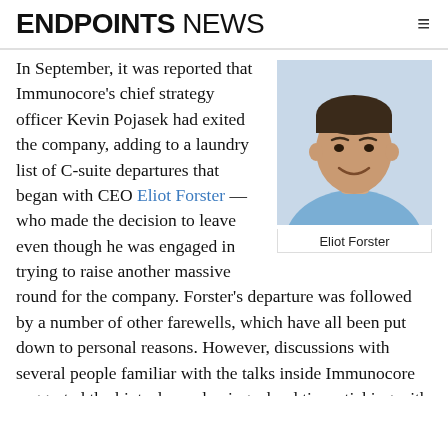ENDPOINTS NEWS
In September, it was reported that Immunocore's chief strategy officer Kevin Pojasek had exited the company, adding to a laundry list of C-suite departures that began with CEO Eliot Forster — who made the decision to leave even though he was engaged in trying to raise another massive round for the company. Forster's departure was followed by a number of other farewells, which have all been put down to personal reasons. However, discussions with several people familiar with the talks inside Immunocore suggested the biotech was having a hard time sticking with its high-end unicorn valuation
[Figure (photo): Headshot photo of Eliot Forster, a man in a light blue shirt, smiling against a light background]
Eliot Forster